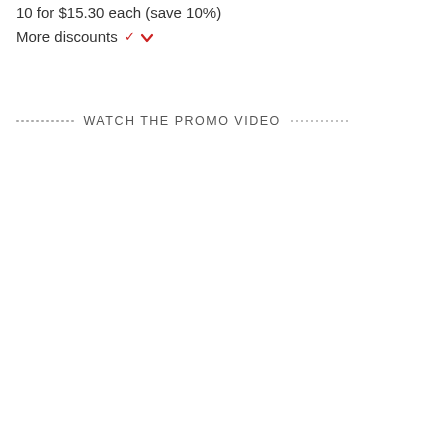10 for $15.30 each (save 10%)
More discounts ∨
WATCH THE PROMO VIDEO